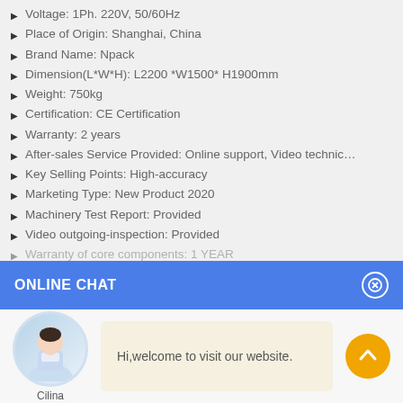Voltage: 1Ph. 220V, 50/60Hz
Place of Origin: Shanghai, China
Brand Name: Npack
Dimension(L*W*H): L2200 *W1500* H1900mm
Weight: 750kg
Certification: CE Certification
Warranty: 2 years
After-sales Service Provided: Online support, Video technic…
Key Selling Points: High-accuracy
Marketing Type: New Product 2020
Machinery Test Report: Provided
Video outgoing-inspection: Provided
Warranty of core components: 1 YEAR
ONLINE CHAT
Hi,welcome to visit our website.
Cilina